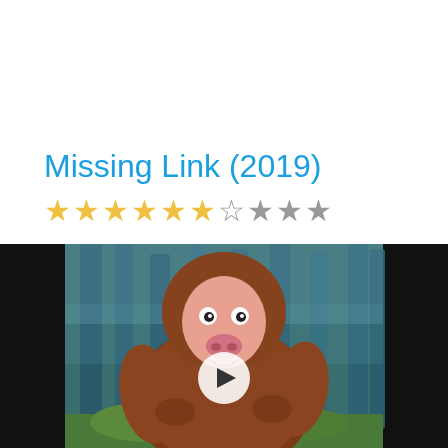Missing Link (2019)
★★★★★★☆★★★ (6 out of 10 stars rating)
[Figure (screenshot): Movie promotional image for Missing Link (2019). Shows an animated bigfoot/sasquatch character with orange-brown fur, a round pink face with wide eyes and a pig-like nose, standing in a misty blue-green forest. A white play button overlay is centered on the image. Black bars are visible on the left and right sides.]